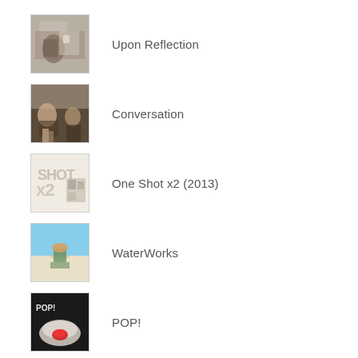Upon Reflection
Conversation
One Shot x2 (2013)
WaterWorks
POP!